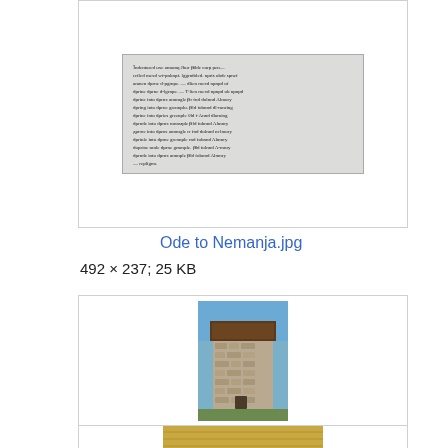[Figure (photo): Thumbnail of a historical manuscript page with handwritten Cyrillic/old script text, grayscale image]
Ode to Nemanja.jpg
492 × 237; 25 KB
[Figure (photo): Photograph of Rozaje Ganica Kula, a stone tower house with a wooden upper story, against a blue sky]
Rozaje Ganica Kula.JPG
2,736 × 3,648; 2.58 MB
[Figure (photo): Partial thumbnail of a third image, yellowish/golden color, partially visible at bottom of page]